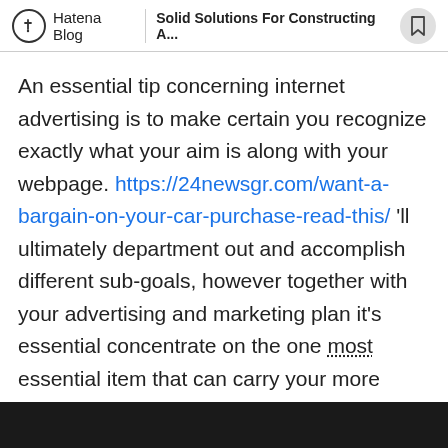Hatena Blog | Solid Solutions For Constructing A...
An essential tip concerning internet advertising is to make certain you recognize exactly what your aim is along with your webpage. https://24newsgr.com/want-a-bargain-on-your-car-purchase-read-this/ 'll ultimately department out and accomplish different sub-goals, however together with your advertising and marketing plan it's essential concentrate on the one most essential item that can carry your more business.
You don't need to necessarily sell huge-finances products or provide information that's wholly unique from